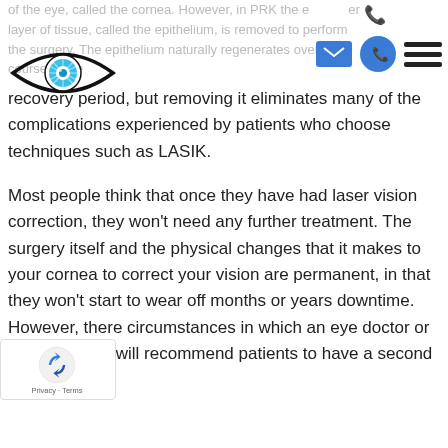of the eye, called the cornea. However, in PRK the entire layer of tissue, called the epithelium, is removed to perform the surgery. The epithelium naturally regenerates over the course of the recovery period, but removing it eliminates many of the complications experienced by patients who choose techniques such as LASIK.
Most people think that once they have had laser vision correction, they won't need any further treatment. The surgery itself and the physical changes that it makes to your cornea to correct your vision are permanent, in that they won't start to wear off months or years downtime. However, there circumstances in which an eye doctor or laser surgeon will recommend patients to have a second PRK surgery.